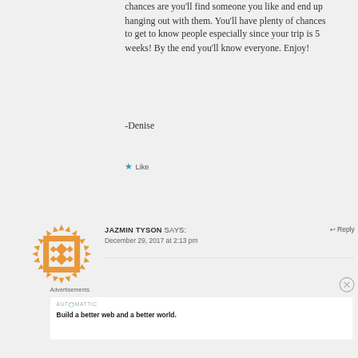chances are you'll find someone you like and end up hanging out with them. You'll have plenty of chances to get to know people especially since your trip is 5 weeks! By the end you'll know everyone. Enjoy!
-Denise
★ Like
JAZMIN TYSON says:
December 29, 2017 at 2:13 pm
↩ Reply
Advertisements
AUTOMATTIC — Build a better web and a better world.